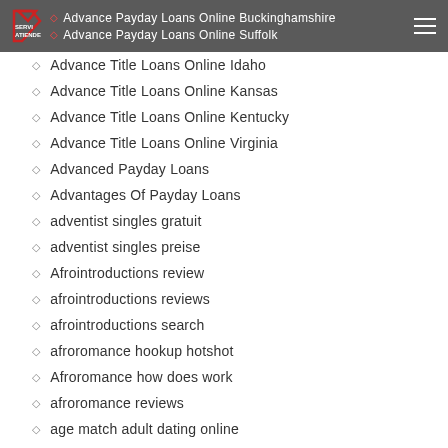Advance Payday Loans Online Buckinghamshire | Advance Payday Loans Online Suffolk
Advance Title Loans Online Idaho
Advance Title Loans Online Kansas
Advance Title Loans Online Kentucky
Advance Title Loans Online Virginia
Advanced Payday Loans
Advantages Of Payday Loans
adventist singles gratuit
adventist singles preise
Afrointroductions review
afrointroductions reviews
afrointroductions search
afroromance hookup hotshot
Afroromance how does work
afroromance reviews
age match adult dating online